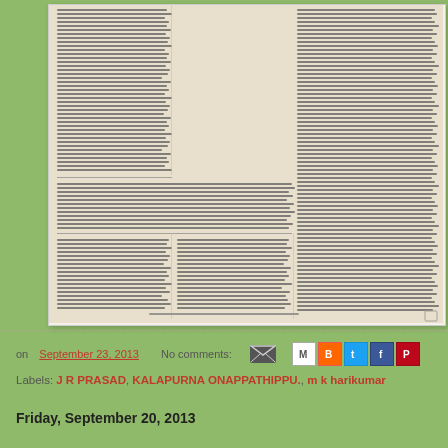[Figure (photo): Scanned image of a Malayalam language printed document page with multiple columns of text]
on September 23, 2013   No comments:
Labels: J R PRASAD, KALAPURNA ONAPPATHIPPU., m k harikumar
Friday, September 20, 2013